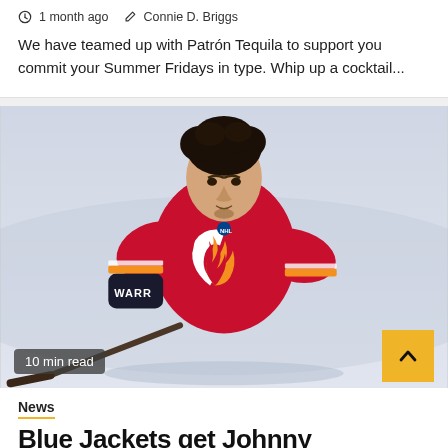1 month ago  Connie D. Briggs
We have teamed up with Patrón Tequila to support you commit your Summer Fridays in type. Whip up a cocktail...
[Figure (photo): Hockey player wearing Calgary Flames red jersey number 13 with Warrior gloves, skating on ice rink, leaning forward with a stick]
10 min read
News
Blue Jackets get Johnny Gaudreau